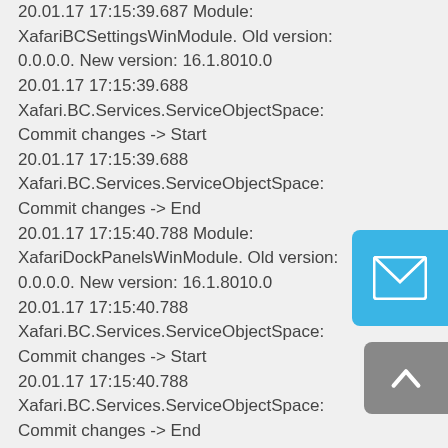20.01.17 17:15:39.687 Module: XafariBCSettingsWinModule. Old version: 0.0.0.0. New version: 16.1.8010.0
20.01.17 17:15:39.688 Xafari.BC.Services.ServiceObjectSpace: Commit changes -> Start
20.01.17 17:15:39.688 Xafari.BC.Services.ServiceObjectSpace: Commit changes -> End
20.01.17 17:15:40.788 Module: XafariDockPanelsWinModule. Old version: 0.0.0.0. New version: 16.1.8010.0
20.01.17 17:15:40.788 Xafari.BC.Services.ServiceObjectSpace: Commit changes -> Start
20.01.17 17:15:40.788 Xafari.BC.Services.ServiceObjectSpace: Commit changes -> End
20.01.17 17:15:41.851 Module: XafariBCWinModule. Old version: 0.0.0.0. New version: 16.1.8010.0
20.01.17 17:15:41.851 Xafari.BC.Services.ServiceObjectSpace:
[Figure (illustration): Blue rounded-corner button with white envelope/mail icon]
[Figure (illustration): Grey rounded-corner button with white upward-pointing chevron/caret icon]